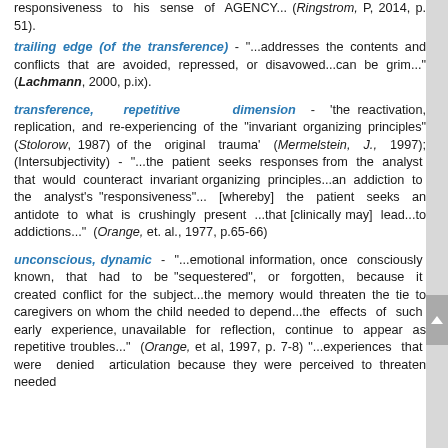responsiveness to his sense of AGENCY... (Ringstrom, P, 2014, p. 51).
trailing edge (of the transference) - "...addresses the contents and conflicts that are avoided, repressed, or disavowed...can be grim..."(Lachmann, 2000, p.ix).
transference, repetitive dimension - 'the reactivation, replication, and re-experiencing of the "invariant organizing principles" (Stolorow, 1987) of the original trauma' (Mermelstein, J., 1997); (Intersubjectivity) - "...the patient seeks responses from the analyst that would counteract invariant organizing principles...an addiction to the analyst's "responsiveness"... [whereby] the patient seeks an antidote to what is crushingly present ...that [clinically may] lead...to addictions..." (Orange, et. al., 1977, p.65-66)
unconscious, dynamic - "...emotional information, once consciously known, that had to be "sequestered", or forgotten, because it created conflict for the subject...the memory would threaten the tie to caregivers on whom the child needed to depend...the effects of such early experience, unavailable for reflection, continue to appear as repetitive troubles..." (Orange, et al, 1997, p. 7-8) "...experiences that were denied articulation because they were perceived to threaten needed